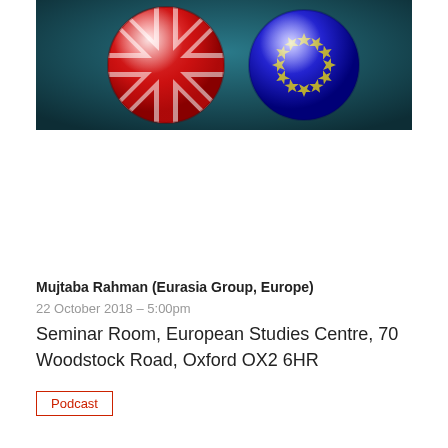[Figure (illustration): Two glossy spheres on a dark teal background: left sphere shows a UK flag (Union Jack) in red, white, and blue; right sphere is solid blue with yellow stars suggesting EU flag. The spheres resemble billiard balls or planets.]
Mujtaba Rahman (Eurasia Group, Europe)
22 October 2018 – 5:00pm
Seminar Room, European Studies Centre, 70 Woodstock Road, Oxford OX2 6HR
Podcast